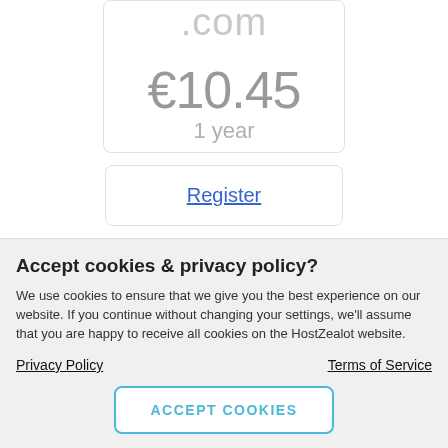.com
€10.45
1 year
Register
.pro
Accept cookies & privacy policy?
We use cookies to ensure that we give you the best experience on our website. If you continue without changing your settings, we'll assume that you are happy to receive all cookies on the HostZealot website.
Privacy Policy
Terms of Service
ACCEPT COOKIES